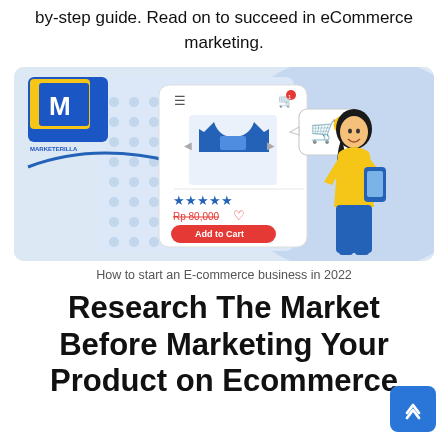by-step guide. Read on to succeed in eCommerce marketing.
[Figure (illustration): Illustration of an e-commerce product page showing a blue t-shirt, star ratings, price Rp 80,000, Add to Cart button, and a woman in yellow top shopping on her phone. Logo 'Marketerilla' in top left corner. A speech bubble with shopping cart icon on the right.]
How to start an E-commerce business in 2022
Research The Market Before Marketing Your Product on Ecommerce